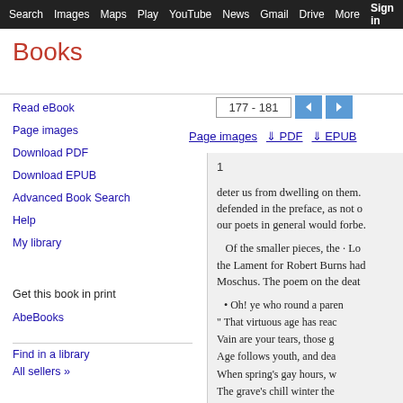Search  Images  Maps  Play  YouTube  News  Gmail  Drive  More  Sign in  Settings
Books
Read eBook
Page images
Download PDF
Download EPUB
Advanced Book Search
Help
My library
Get this book in print
AbeBooks
Find in a library
All sellers »
177 - 181
Page images  PDF  EPUB
1

deter us from dwelling on them. defended in the preface, as not o our poets in general would forbe.

   Of the smaller pieces, the · Lo the Lament for Robert Burns had Moschus. The poem on the deat

• Oh! ye who round a paren
" That virtuous age has reac
Vain are your tears, those g
Age follows youth, and dea
When spring's gay hours, w
The grave's chill winter the